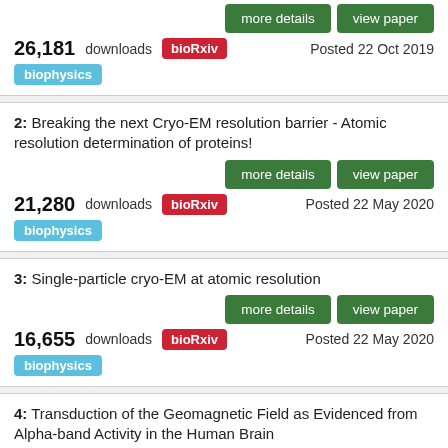26,181 downloads bioRxiv Posted 22 Oct 2019 biophysics
2: Breaking the next Cryo-EM resolution barrier - Atomic resolution determination of proteins!
21,280 downloads bioRxiv Posted 22 May 2020 biophysics
3: Single-particle cryo-EM at atomic resolution
16,655 downloads bioRxiv Posted 22 May 2020 biophysics
4: Transduction of the Geomagnetic Field as Evidenced from Alpha-band Activity in the Human Brain